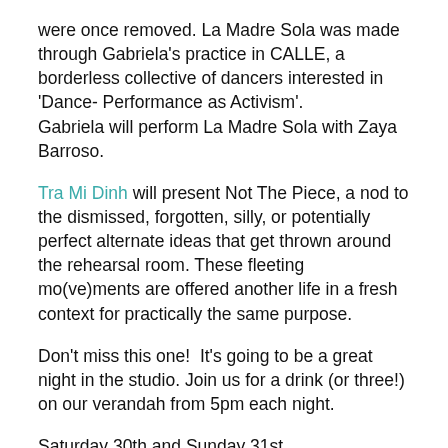were once removed. La Madre Sola was made through Gabriela's practice in CALLE, a borderless collective of dancers interested in 'Dance- Performance as Activism'. Gabriela will perform La Madre Sola with Zaya Barroso.
Tra Mi Dinh will present Not The Piece, a nod to the dismissed, forgotten, silly, or potentially perfect alternate ideas that get thrown around the rehearsal room. These fleeting mo(ve)ments are offered another life in a fresh context for practically the same purpose.
Don't miss this one!  It's going to be a great night in the studio. Join us for a drink (or three!) on our verandah from 5pm each night.
Saturday 30th and Sunday 31st...